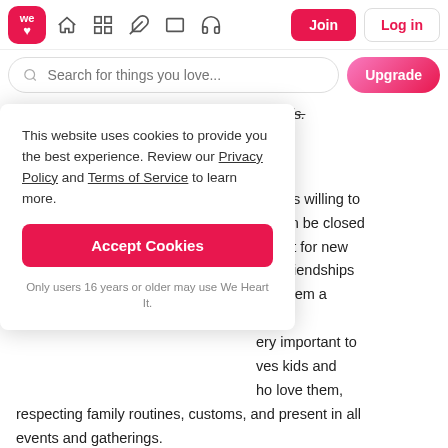we heart it — navbar with Join and Log in buttons
Search for things you love...
expectations of their family and close friends.
Friends and family
People born in this sign are loyal and always willing to help, but they can be closed and trust for new relationships. Their friendships last them a lifetime.
This website uses cookies to provide you the best experience. Review our Privacy Policy and Terms of Service to learn more.
Accept Cookies
Only users 16 years or older may use We Heart It.
very important to them. He loves kids and those who love them, respecting family routines, customs, and present in all events and gatherings.